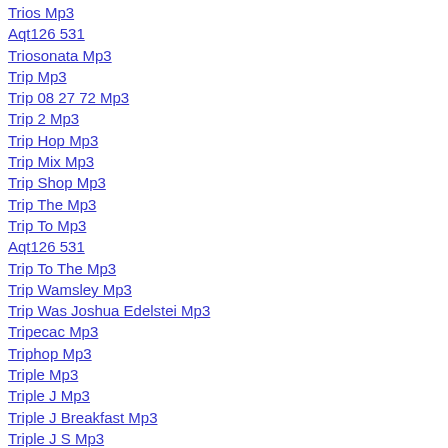Trios Mp3
Aqt126 531
Triosonata Mp3
Trip Mp3
Trip 08 27 72 Mp3
Trip 2 Mp3
Trip Hop Mp3
Trip Mix Mp3
Trip Shop Mp3
Trip The Mp3
Trip To Mp3
Aqt126 531
Trip To The Mp3
Trip Wamsley Mp3
Trip Was Joshua Edelstei Mp3
Tripecac Mp3
Triphop Mp3
Triple Mp3
Triple J Mp3
Triple J Breakfast Mp3
Triple J S Mp3
Aqt126 530
Triple J S Brisbane Mp3
Triple J Unearthed Mp3
Triple Rock Social Mp3